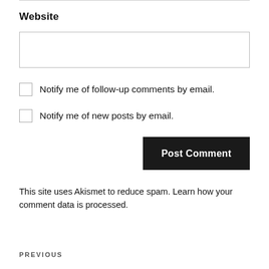Website
Notify me of follow-up comments by email.
Notify me of new posts by email.
Post Comment
This site uses Akismet to reduce spam. Learn how your comment data is processed.
PREVIOUS